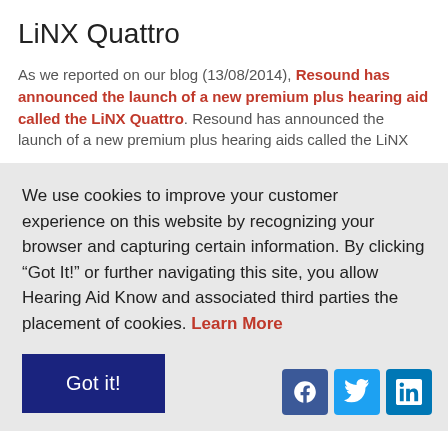LiNX Quattro
As we reported on our blog (13/08/2014), Resound has announced the launch of a new premium plus hearing aid called the LiNX Quattro. Resound has announced the launch of a new premium plus hearing aids called the LiNX
We use cookies to improve your customer experience on this website by recognizing your browser and capturing certain information. By clicking “Got It!” or further navigating this site, you allow Hearing Aid Know and associated third parties the placement of cookies. Learn More
Got it!